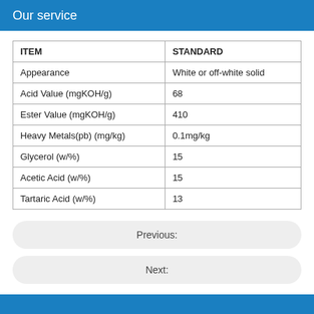Our service
| ITEM | STANDARD |
| --- | --- |
| Appearance | White or off-white solid |
| Acid Value (mgKOH/g) | 68 |
| Ester Value (mgKOH/g) | 410 |
| Heavy Metals(pb) (mg/kg) | 0.1mg/kg |
| Glycerol (w/%) | 15 |
| Acetic Acid (w/%) | 15 |
| Tartaric Acid (w/%) | 13 |
Previous:
Next: